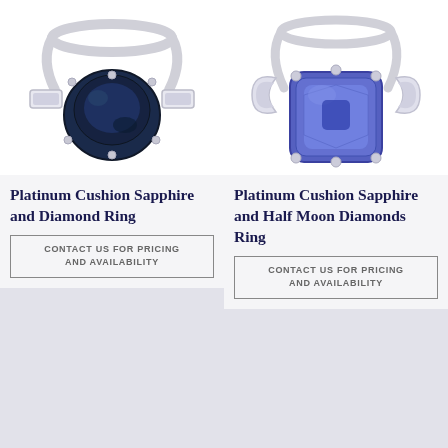[Figure (photo): Platinum cushion sapphire and diamond ring with dark blue/green sapphire center stone and baguette diamonds on sides, on white background]
[Figure (photo): Platinum cushion sapphire ring with bright purple-blue sapphire center stone and half moon diamonds on sides, on white background]
Platinum Cushion Sapphire and Diamond Ring
Platinum Cushion Sapphire and Half Moon Diamonds Ring
CONTACT US FOR PRICING AND AVAILABILITY
CONTACT US FOR PRICING AND AVAILABILITY
[Figure (photo): Placeholder image area (light gray)]
[Figure (photo): Placeholder image area (light gray)]